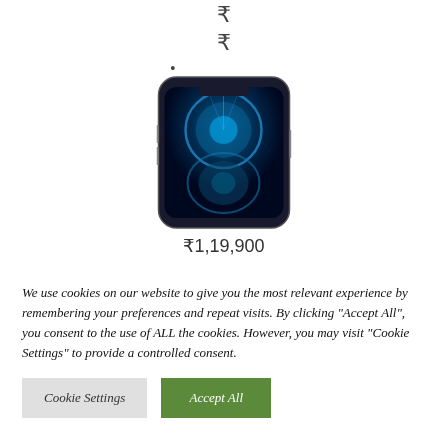₹
₹
•
[Figure (photo): iPhone 12 Pro Max in Pacific Blue color, front view showing display with blue circular gradient design]
₹1,19,900
₹
₹
We use cookies on our website to give you the most relevant experience by remembering your preferences and repeat visits. By clicking "Accept All", you consent to the use of ALL the cookies. However, you may visit "Cookie Settings" to provide a controlled consent.
Cookie Settings
Accept All